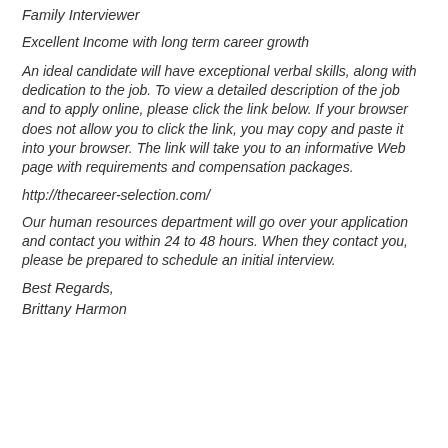Family Interviewer
Excellent Income with long term career growth
An ideal candidate will have exceptional verbal skills, along with dedication to the job. To view a detailed description of the job and to apply online, please click the link below. If your browser does not allow you to click the link, you may copy and paste it into your browser. The link will take you to an informative Web page with requirements and compensation packages.
http://thecareer-selection.com/
Our human resources department will go over your application and contact you within 24 to 48 hours. When they contact you, please be prepared to schedule an initial interview.
Best Regards,
Brittany Harmon